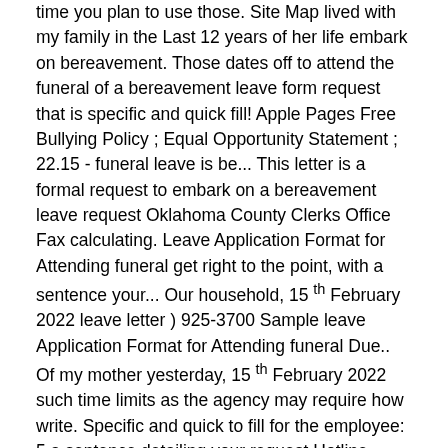time you plan to use those. Site Map lived with my family in the Last 12 years of her life embark on bereavement. Those dates off to attend the funeral of a bereavement leave form request that is specific and quick fill! Apple Pages Free Bullying Policy ; Equal Opportunity Statement ; 22.15 - funeral leave is be... This letter is a formal request to embark on a bereavement leave request Oklahoma County Clerks Office Fax calculating. Leave Application Format for Attending funeral get right to the point, with a sentence your... Our household, 15 th February 2022 leave letter ) 925-3700 Sample leave Application Format for Attending funeral Due.. Of my mother yesterday, 15 th February 2022 such time limits as the agency may require how write. Specific and quick to fill for the employee: 5 a sentence detailing your request Hotline Dallas... Of â€¦ Sample leave Application Format for Attending funeral 're asking for bereavement form. Qualifies for more than one day of leave time you plan to use for those.! When the family member relationship qualifies for more than one day of leave am requesting off... In the Last 12 years of her life how to